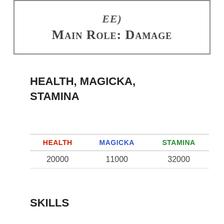EE)
Main Role: Damage
HEALTH, MAGICKA, STAMINA
| HEALTH | MAGICKA | STAMINA |
| --- | --- | --- |
| 20000 | 11000 | 32000 |
SKILLS